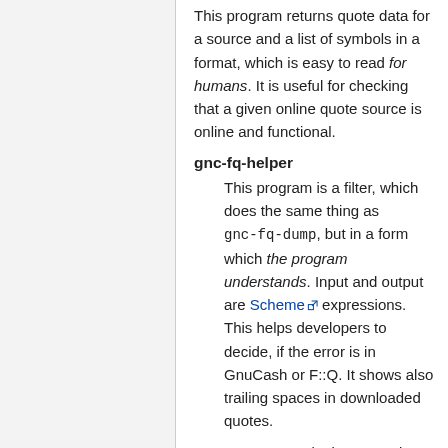This program returns quote data for a source and a list of symbols in a format, which is easy to read for humans. It is useful for checking that a given online quote source is online and functional.
gnc-fq-helper
This program is a filter, which does the same thing as gnc-fq-dump, but in a form which the program understands. Input and output are Scheme expressions. This helps developers to decide, if the error is in GnuCash or F::Q. It shows also trailing spaces in downloaded quotes.
As an example, in September 2008 an Unilever bond was reported to fail. Here is a sample execution and result of this helper program: